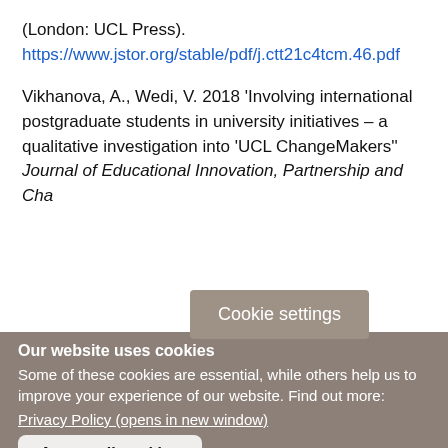(London: UCL Press). https://www.jstor.org/stable/pdf/j.ctt21c4tcm.46.pdf
Vikhanova, A., Wedi, V. 2018 'Involving international postgraduate students in university initiatives – a qualitative investigation into 'UCL ChangeMakers'' Journal of Educational Innovation, Partnership and Cha…
Cookie settings
Our website uses cookies
Some of these cookies are essential, while others help us to improve your experience of our website. Find out more:
Privacy Policy (opens in new window)
Accept all cookies
Manage cookies